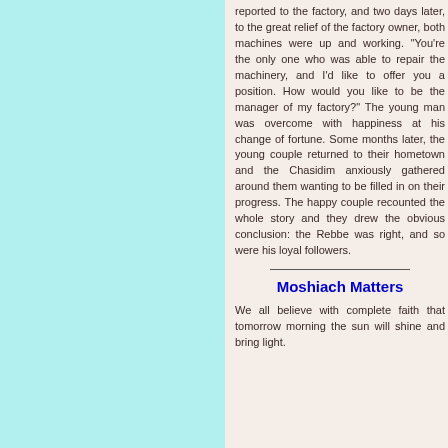A week later, the young man reported to the factory, and two days later, to the great relief of the factory owner, both machines were up and working. "You're the only one who was able to repair the machinery, and I'd like to offer you a position. How would you like to be the manager of my factory?" The young man was overcome with happiness at his change of fortune. Some months later, the young couple returned to their hometown and the Chasidim anxiously gathered around them wanting to be filled in on their progress. The happy couple recounted the whole story and they drew the obvious conclusion: the Rebbe was right, and so were his loyal followers.
Moshiach Matters
We all believe with complete faith that tomorrow morning the sun will shine and bring light.